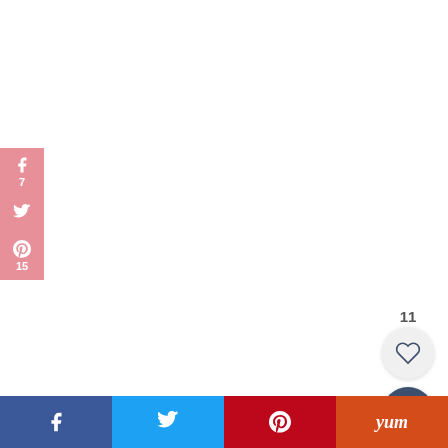[Figure (infographic): Social media share sidebar with Facebook (7 shares), Twitter, and Pinterest (15 saves) buttons in pink, left side]
22
SHARES
[Figure (infographic): Heart/like button (11 likes) and search icon button on the right side]
[Figure (infographic): Bottom share bar with Facebook, Twitter, Pinterest, and Yummly buttons]